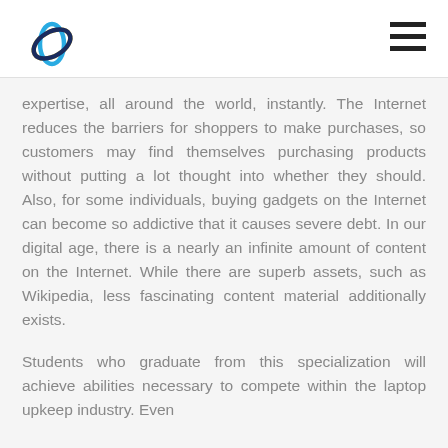[Logo] [Navigation menu icon]
expertise, all around the world, instantly. The Internet reduces the barriers for shoppers to make purchases, so customers may find themselves purchasing products without putting a lot thought into whether they should. Also, for some individuals, buying gadgets on the Internet can become so addictive that it causes severe debt. In our digital age, there is a nearly an infinite amount of content on the Internet. While there are superb assets, such as Wikipedia, less fascinating content material additionally exists.
Students who graduate from this specialization will achieve abilities necessary to compete within the laptop upkeep industry. Even